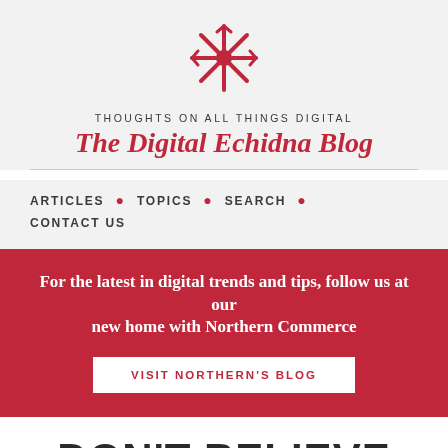[Figure (logo): Digital Echidna logo: red starburst/snowflake icon]
THOUGHTS ON ALL THINGS DIGITAL
The Digital Echidna Blog
ARTICLES • TOPICS • SEARCH • CONTACT US
For the latest in digital trends and tips, follow us at our new home with Northern Commerce
VISIT NORTHERN'S BLOG
DON'T BELIEVE THE HYPE